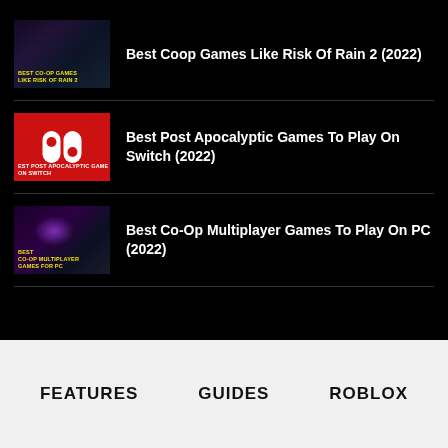Best Coop Games Like Risk Of Rain 2 (2022)
Best Post Apocalyptic Games To Play On Switch (2022)
Best Co-Op Multiplayer Games To Play On PC (2022)
FEATURES   GUIDES   ROBLOX